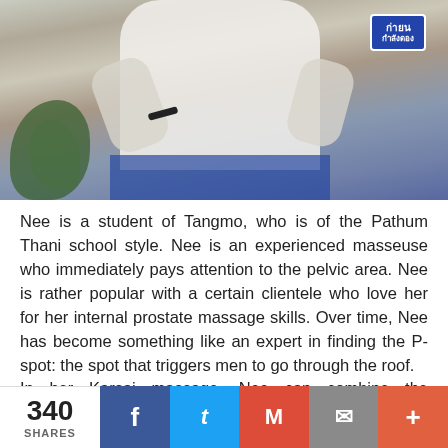[Figure (photo): Photo of a person in white clothing with plants visible in the background and a Thai language sign in upper right corner]
Nee is a student of Tangmo, who is of the Pathum Thani school style. Nee is an experienced masseuse who immediately pays attention to the pelvic area. Nee is rather popular with a certain clientele who love her for her internal prostate massage skills. Over time, Nee has become something like an expert in finding the P-spot: the spot that triggers men to go through the roof.
In her Karsai massage, Nee can combine the necessary with the pleasurable.
KARSAI WITH BEE
Bee is a student of Tangmo, who is of the Pathum Thani
340 SHARES  f  t  M  ✉  +